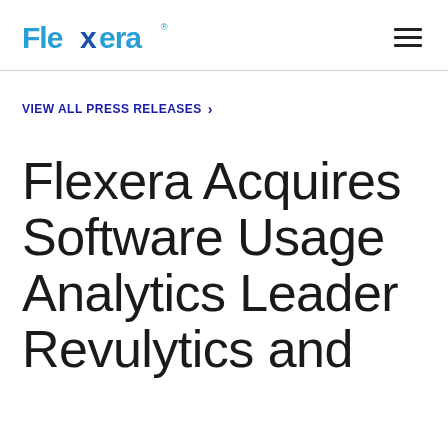Flexera
VIEW ALL PRESS RELEASES >
Flexera Acquires Software Usage Analytics Leader Revulytics and